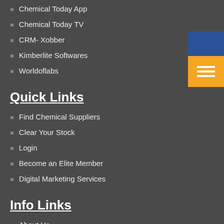Chemical Today App
Chemical Today TV
CRM- Xobber
Kimberlite Softwares
Worldoflabs
Quick Links
Find Chemical Suppliers
Clear Your Stock
Login
Become an Elite Member
Digital Marketing Services
Info Links
About Us
News and Media